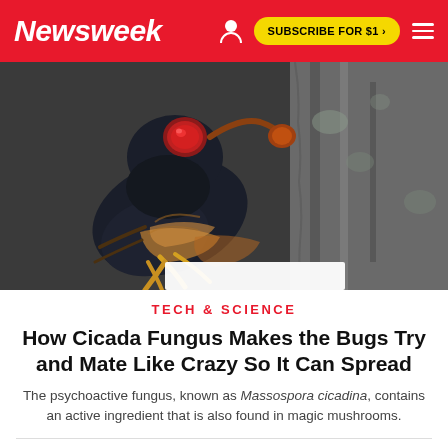Newsweek | SUBSCRIBE FOR $1 >
[Figure (photo): Close-up photograph of a cicada with dark blue-black body, red eyes, and orange-yellow wing markings, clinging to tree bark]
TECH & SCIENCE
How Cicada Fungus Makes the Bugs Try and Mate Like Crazy So It Can Spread
The psychoactive fungus, known as Massospora cicadina, contains an active ingredient that is also found in magic mushrooms.
BY ARISTOS GEORGIOU ON 5/24/21 AT 12:53 PM EDT